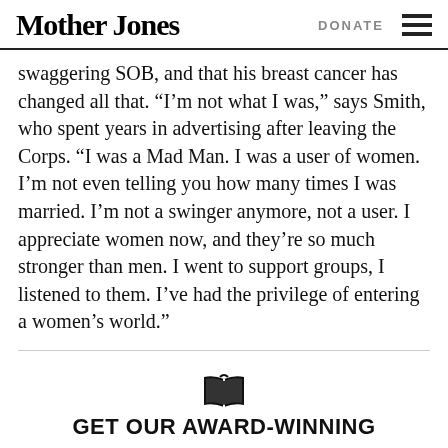Mother Jones | DONATE
swaggering SOB, and that his breast cancer has changed all that. “I’m not what I was,” says Smith, who spent years in advertising after leaving the Corps. “I was a Mad Man. I was a user of women. I’m not even telling you how many times I was married. I’m not a swinger anymore, not a user. I appreciate women now, and they’re so much stronger than men. I went to support groups, I listened to them. I’ve had the privilege of entering a women’s world.”
[Figure (other): Open book icon]
GET OUR AWARD-WINNING MAGAZINE